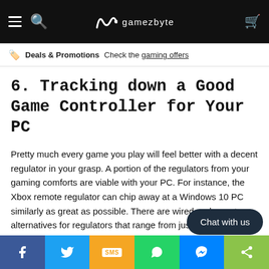gamezbyte
Deals & Promotions Check the gaming offers
6. Tracking down a Good Game Controller for Your PC
Pretty much every game you play will feel better with a decent regulator in your grasp. A portion of the regulators from your gaming comforts are viable with your PC. For instance, the Xbox remote regulator can chip away at a Windows 10 PC similarly as great as possible. There are wired and remote alternatives for regulators that range from just $20 and go as far as possible